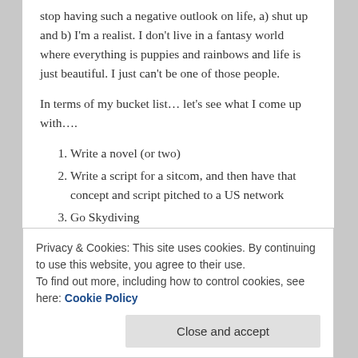stop having such a negative outlook on life, a) shut up and b) I'm a realist. I don't live in a fantasy world where everything is puppies and rainbows and life is just beautiful. I just can't be one of those people.
In terms of my bucket list… let's see what I come up with….
Write a novel (or two)
Write a script for a sitcom, and then have that concept and script pitched to a US network
Go Skydiving
…and maybe bungee jumping. But only maybe!!
TRAVEL!!! – New York, L.A., London, Italy, Greece, Germany, Mexico, Bali, Thailand, France, Brazil, trips
Privacy & Cookies: This site uses cookies. By continuing to use this website, you agree to their use.
To find out more, including how to control cookies, see here: Cookie Policy